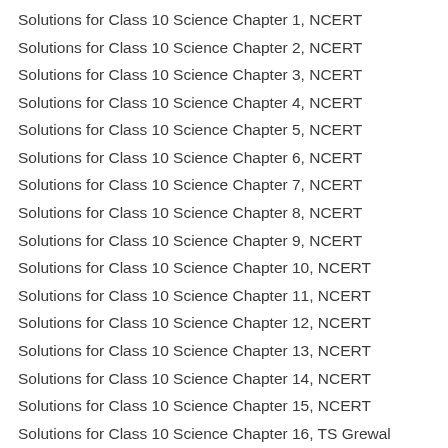Solutions for Class 10 Science Chapter 1, NCERT
Solutions for Class 10 Science Chapter 2, NCERT
Solutions for Class 10 Science Chapter 3, NCERT
Solutions for Class 10 Science Chapter 4, NCERT
Solutions for Class 10 Science Chapter 5, NCERT
Solutions for Class 10 Science Chapter 6, NCERT
Solutions for Class 10 Science Chapter 7, NCERT
Solutions for Class 10 Science Chapter 8, NCERT
Solutions for Class 10 Science Chapter 9, NCERT
Solutions for Class 10 Science Chapter 10, NCERT
Solutions for Class 10 Science Chapter 11, NCERT
Solutions for Class 10 Science Chapter 12, NCERT
Solutions for Class 10 Science Chapter 13, NCERT
Solutions for Class 10 Science Chapter 14, NCERT
Solutions for Class 10 Science Chapter 15, NCERT
Solutions for Class 10 Science Chapter 16, TS Grewal